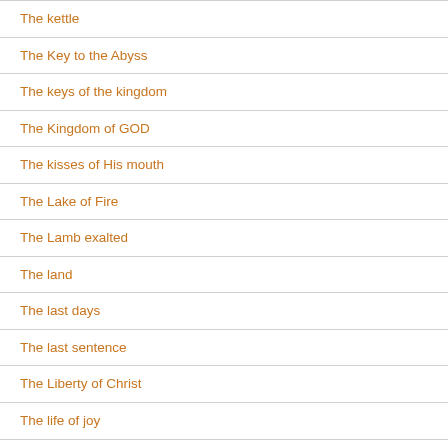The kettle
The Key to the Abyss
The keys of the kingdom
The Kingdom of GOD
The kisses of His mouth
The Lake of Fire
The Lamb exalted
The land
The last days
The last sentence
The Liberty of Christ
The life of joy
The light of the city